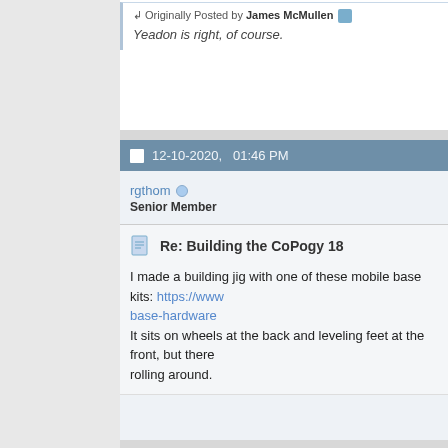Originally Posted by James McMullen
Yeadon is right, of course.
12-10-2020, 01:46 PM
rgthom
Senior Member
Re: Building the CoPogy 18
I made a building jig with one of these mobile base kits: https://www base-hardware
It sits on wheels at the back and leveling feet at the front, but there rolling around.
12-20-2020, 06:57 PM
AJZimm